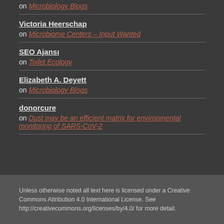on Microbiology Blogs
Victoria Heerschap on Microbiome Centers – Input Wanted
SEO Ajansı on Toilet Ecology
Elizabeth A. Deyett on Microbiology Blogs
donorcure on Dust may be an efficient matrix for environmental monitoring of SARS-CoV-2
Unless otherwise noted all text here is licensed under a Creative Commons Attribution 4.0 International License. See http://creativecommons.org/licenses/by/4.0/ for more detail.